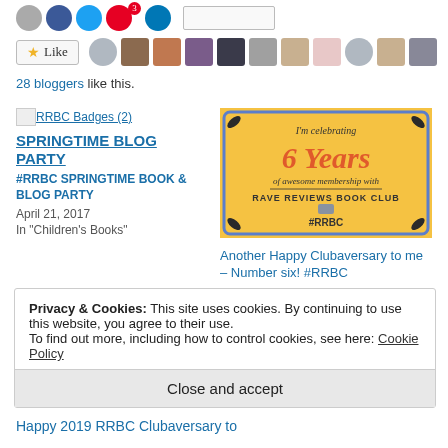[Figure (other): Social share icons and like button with blogger avatars]
28 bloggers like this.
[Figure (illustration): Broken image icon linking to RRBC Badges (2)]
SPRINGTIME BLOG PARTY
#RRBC SPRINGTIME BOOK & BLOG PARTY
April 21, 2017
In "Children's Books"
[Figure (illustration): Orange badge celebrating 6 Years of awesome membership with Rave Reviews Book Club #RRBC]
Another Happy Clubaversary to me – Number six! #RRBC
July 26, 2022
In "Book Club"
Privacy & Cookies: This site uses cookies. By continuing to use this website, you agree to their use.
To find out more, including how to control cookies, see here: Cookie Policy
Close and accept
Happy 2019 RRBC Clubaversary to